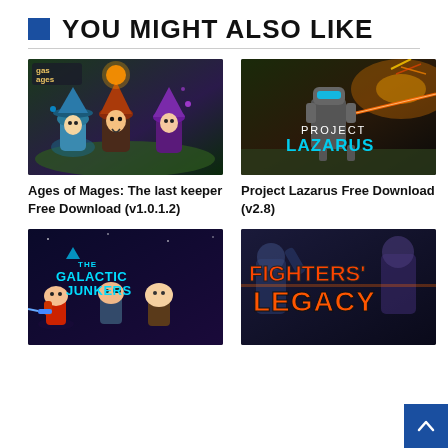YOU MIGHT ALSO LIKE
[Figure (screenshot): Ages of Mages: The last keeper game cover image showing cartoon wizard characters]
Ages of Mages: The last keeper Free Download (v1.0.1.2)
[Figure (screenshot): Project Lazarus game cover image showing a robot in a battlefield with text 'PROJECT LAZARUS']
Project Lazarus Free Download (v2.8)
[Figure (screenshot): The Galactic Junkers game cover image showing cartoon space characters with guns]
[Figure (screenshot): Fighters' Legacy game cover image showing text 'FIGHTERS' LEGACY' with fighters in background]